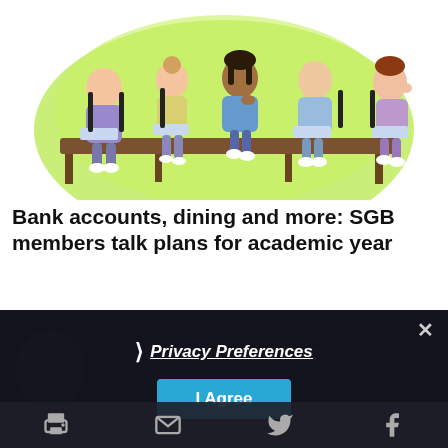[Figure (illustration): Illustrated image of five students sitting at a long table with laptops on a bright green background, representing SGB members in a meeting]
Bank accounts, dining and more: SGB members talk plans for academic year
[Figure (screenshot): Dark overlay cookie consent banner with Privacy Preferences link, I Agree button, and close X button, overlaid on a dark crowd image]